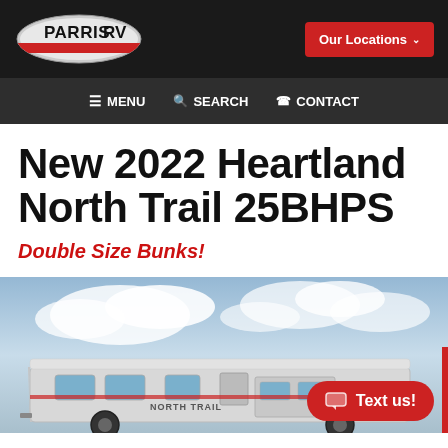Parris RV — Our Locations
MENU   SEARCH   CONTACT
New 2022 Heartland North Trail 25BHPS
Double Size Bunks!
[Figure (photo): Exterior photo of a 2022 Heartland North Trail 25BHPS travel trailer parked outdoors under a partly cloudy sky. The North Trail branding is visible on the side. A 'Text us!' red button overlay is shown at the bottom right.]